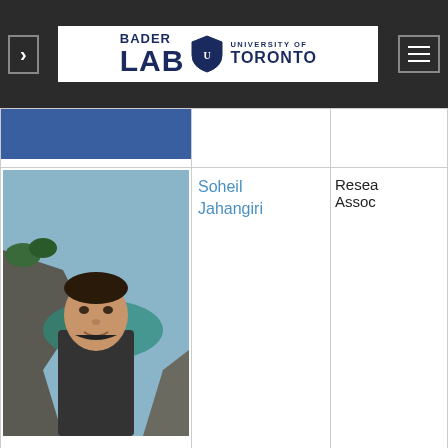Bader Lab – University of Toronto
[Figure (photo): Photo of Soheil Jahangiri, a man with dark hair sitting near rocky coastal scenery with turquoise water]
Soheil Jahangiri
Research Associate
Software Developers
[Figure (photo): Photo of Christian Lopes, a bald man with glasses smiling, wearing a blue shirt]
Christian Lopes
Sep.20